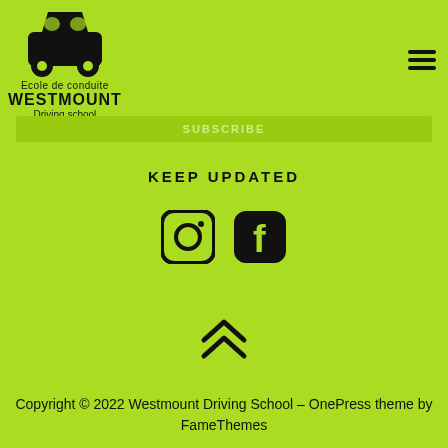[Figure (logo): Westmount Driving School logo with car icon and text: Ecole de conduite WESTMOUNT Driving school]
[Figure (other): Hamburger menu icon (three horizontal lines) in top right corner]
SUBSCRIBE
KEEP UPDATED
[Figure (other): Instagram and Facebook social media icons]
[Figure (other): Double up chevron/arrow icon for back to top]
Copyright © 2022 Westmount Driving School – OnePress theme by FameThemes